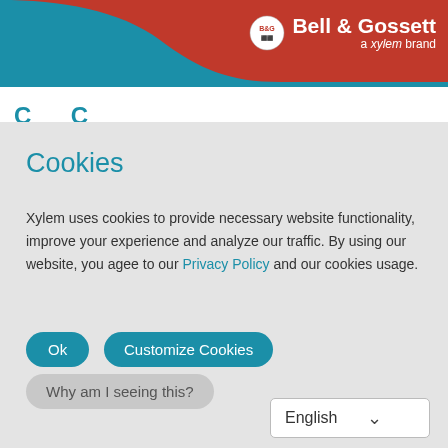[Figure (logo): Bell & Gossett logo with teal curve and red header bar. Logo badge on left, 'Bell & Gossett' in white bold text, 'a xylem brand' in white italic below.]
C... C...
Cookies
Xylem uses cookies to provide necessary website functionality, improve your experience and analyze our traffic. By using our website, you agee to our Privacy Policy and our cookies usage.
Ok
Customize Cookies
Why am I seeing this?
English